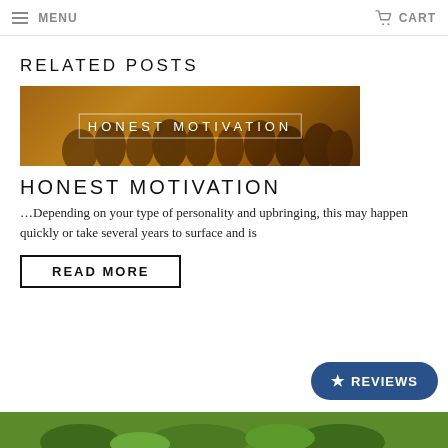MENU   CART
RELATED POSTS
[Figure (photo): Horses running in a dusty golden field at sunset, with text overlay reading HONEST MOTIVATION]
HONEST MOTIVATION
…Depending on your type of personality and upbringing, this may happen quickly or take several years to surface and is
READ MORE
★ REVIEWS